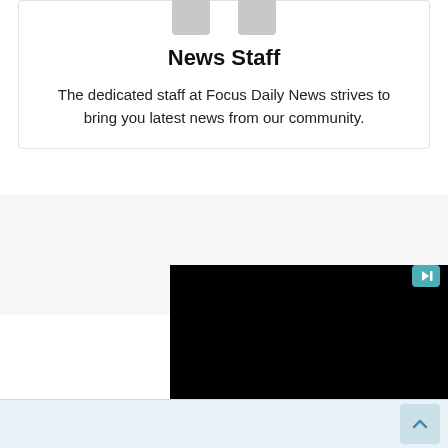[Figure (illustration): Two gray avatar/person placeholder icons side by side at the top of a card]
News Staff
The dedicated staff at Focus Daily News strives to bring you latest news from our community.
[Figure (screenshot): A black video player rectangle with a teal/cyan play or ad badge icon in the top-right corner]
[Figure (other): A light blue scroll-to-top button with an upward arrow chevron in the bottom-right corner]